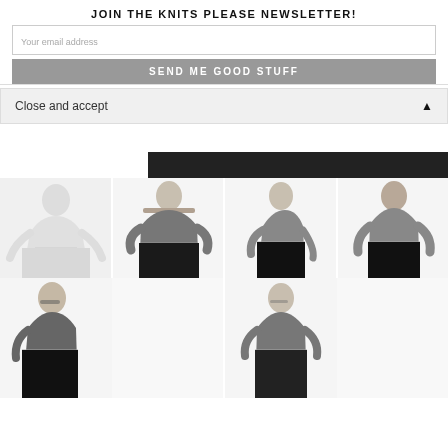JOIN THE KNITS PLEASE NEWSLETTER!
Your email address
SEND ME GOOD STUFF
Close and accept
[Figure (photo): Fashion photo collage showing a woman in a grey cropped sweater with bell sleeves and black skirt, multiple poses and angles]
[Figure (photo): Fashion photo collage showing a woman in a grey cropped sweater and black skirt from front, side, and back views]
[Figure (photo): Fashion photos showing woman in grey top and black skirt, close-up poses]